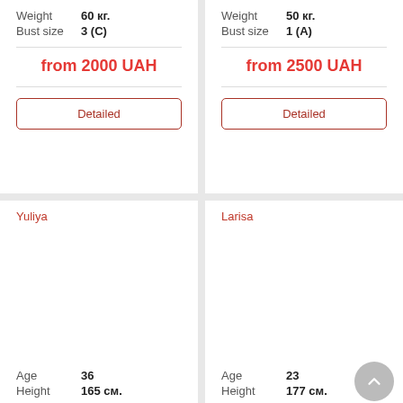Weight  60 кг.
Bust size  3 (C)
from 2000 UAH
Detailed
Weight  50 кг.
Bust size  1 (A)
from 2500 UAH
Detailed
Yuliya
Age  36
Height  165 см.
Larisa
Age  23
Height  177 см.